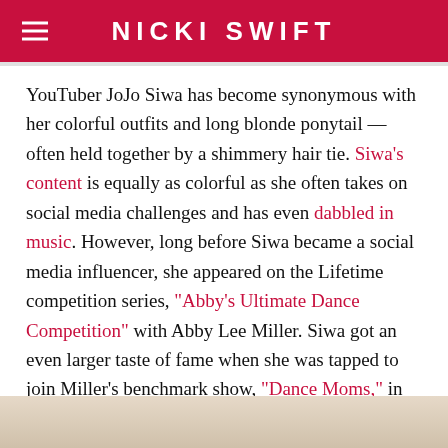NICKI SWIFT
YouTuber JoJo Siwa has become synonymous with her colorful outfits and long blonde ponytail — often held together by a shimmery hair tie. Siwa's content is equally as colorful as she often takes on social media challenges and has even dabbled in music. However, long before Siwa became a social media influencer, she appeared on the Lifetime competition series, "Abby's Ultimate Dance Competition" with Abby Lee Miller. Siwa got an even larger taste of fame when she was tapped to join Miller's benchmark show, "Dance Moms," in 2015.
[Figure (photo): Bottom portion of a photo showing a person with blonde hair]